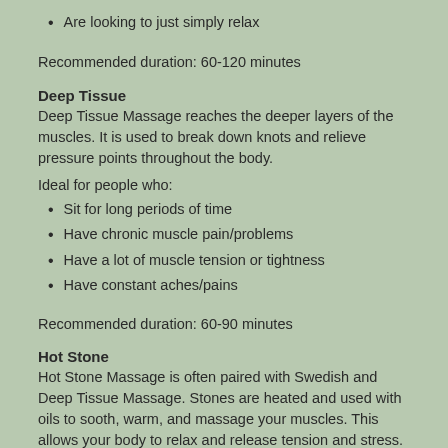Are looking to just simply relax
Recommended duration: 60-120 minutes
Deep Tissue
Deep Tissue Massage reaches the deeper layers of the muscles. It is used to break down knots and relieve pressure points throughout the body.
Ideal for people who:
Sit for long periods of time
Have chronic muscle pain/problems
Have a lot of muscle tension or tightness
Have constant aches/pains
Recommended duration: 60-90 minutes
Hot Stone
Hot Stone Massage is often paired with Swedish and Deep Tissue Massage. Stones are heated and used with oils to sooth, warm, and massage your muscles. This allows your body to relax and release tension and stress.